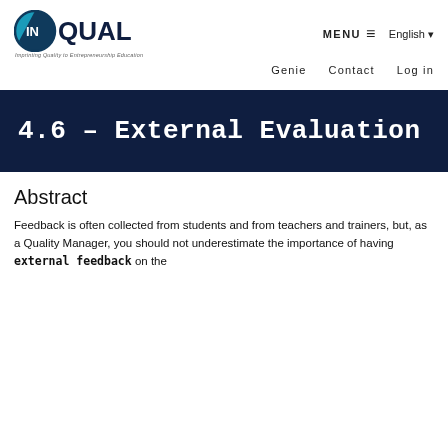[Figure (logo): InQual logo: circular teal/dark blue icon with 'IN' text, followed by 'QUAL' text in dark blue]
Imprinting Quality to Entrepreneurship Education
MENU ≡   English ▼
Genie   Contact   Log in
4.6 – External Evaluation
Abstract
Feedback is often collected from students and from teachers and trainers, but, as a Quality Manager, you should not underestimate the importance of having external feedback on the